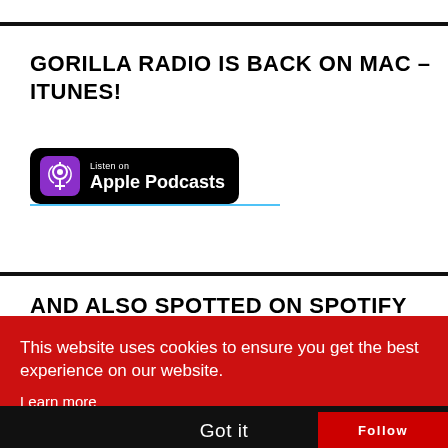GORILLA RADIO IS BACK ON MAC – ITUNES!
[Figure (logo): Listen on Apple Podcasts badge with purple podcast icon on black background]
AND ALSO SPOTTED ON SPOTIFY
This website uses cookies to ensure you get the best experience on our website.
Learn more
Got it
Follow